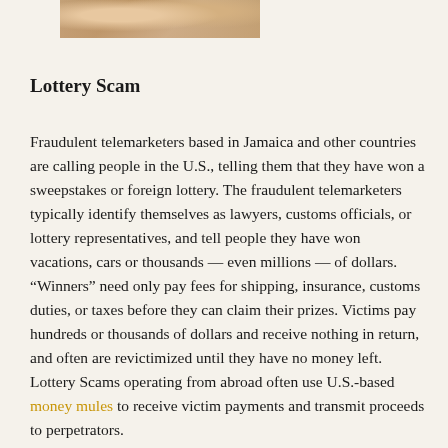[Figure (photo): Partial photo strip at top of page showing faces/people, cropped]
Lottery Scam
Fraudulent telemarketers based in Jamaica and other countries are calling people in the U.S., telling them that they have won a sweepstakes or foreign lottery. The fraudulent telemarketers typically identify themselves as lawyers, customs officials, or lottery representatives, and tell people they have won vacations, cars or thousands — even millions — of dollars. “Winners” need only pay fees for shipping, insurance, customs duties, or taxes before they can claim their prizes. Victims pay hundreds or thousands of dollars and receive nothing in return, and often are revictimized until they have no money left. Lottery Scams operating from abroad often use U.S.-based money mules to receive victim payments and transmit proceeds to perpetrators.